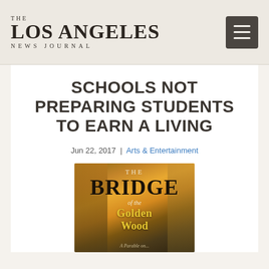THE LOS ANGELES NEWS JOURNAL
SCHOOLS NOT PREPARING STUDENTS TO EARN A LIVING
Jun 22, 2017 | Arts & Entertainment
[Figure (illustration): Book cover of 'The Bridge of the Golden Wood' — illustrated children's book cover with stylized trees and golden text on a warm brown background]